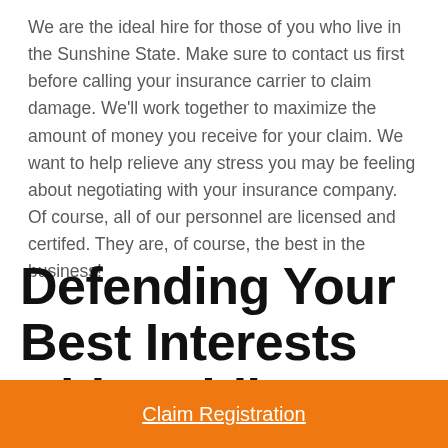We are the ideal hire for those of you who live in the Sunshine State. Make sure to contact us first before calling your insurance carrier to claim damage. We'll work together to maximize the amount of money you receive for your claim. We want to help relieve any stress you may be feeling about negotiating with your insurance company. Of course, all of our personnel are licensed and certifed. They are, of course, the best in the business!
Defending Your Best Interests with Public Adjusters
Claim Registration